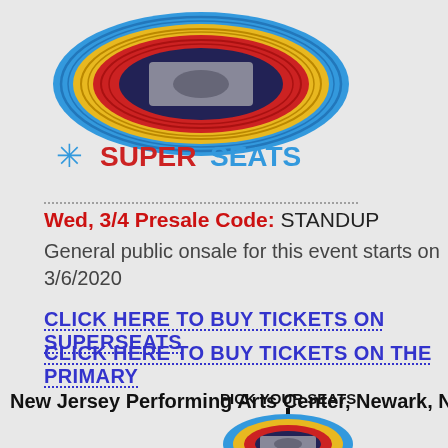[Figure (logo): SuperSeats logo with arena seating map graphic above the SUPERSEATS text with snowflake icon]
Wed, 3/4 Presale Code: STANDUP
General public onsale for this event starts on 3/6/2020
CLICK HERE TO BUY TICKETS ON SUPERSEATS
CLICK HERE TO BUY TICKETS ON THE PRIMARY
New Jersey Performing Arts Center, Newark, NJ
[Figure (illustration): Arena seating map with PICK YOUR SEATS label and arrow pointing down to the arena diagram]